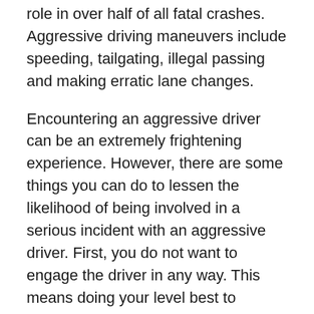role in over half of all fatal crashes. Aggressive driving maneuvers include speeding, tailgating, illegal passing and making erratic lane changes.
Encountering an aggressive driver can be an extremely frightening experience. However, there are some things you can do to lessen the likelihood of being involved in a serious incident with an aggressive driver. First, you do not want to engage the driver in any way. This means doing your level best to contain your anger when an aggressive driver cuts you off, tailgates you or is menacing in some other manner.
Rather than retaliating, give the aggressive driver as much room as possible. Simply put, just get out of his or her way. Also, avoid making eye contact or making gestures toward the driver. Such acts could be interpreted as challenges and may escalate the situation dramatically. And if the